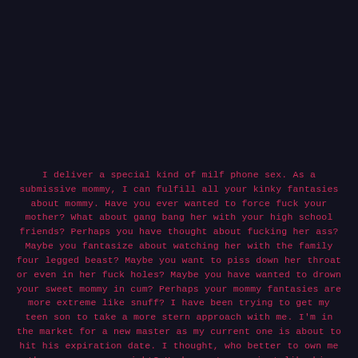I deliver a special kind of milf phone sex. As a submissive mommy, I can fulfill all your kinky fantasies about mommy. Have you ever wanted to force fuck your mother? What about gang bang her with your high school friends? Perhaps you have thought about fucking her ass? Maybe you fantasize about watching her with the family four legged beast? Maybe you want to piss down her throat or even in her fuck holes? Maybe you have wanted to drown your sweet mommy in cum? Perhaps your mommy fantasies are more extreme like snuff? I have been trying to get my teen son to take a more stern approach with me. I'm in the market for a new master as my current one is about to hit his expiration date. I thought, who better to own me than my own son, right? He has a temper just like his daddy, but if he slaps me or talks sass to me, he quickly apologizes, even though I tell him it is okay because I am a dirty submissive whore. Last night, I messed up his laundry on purpose to get a reaction. I bleached his favorite blue tee shirt. I was wearing a sexy little number: garter belt, stockings and a